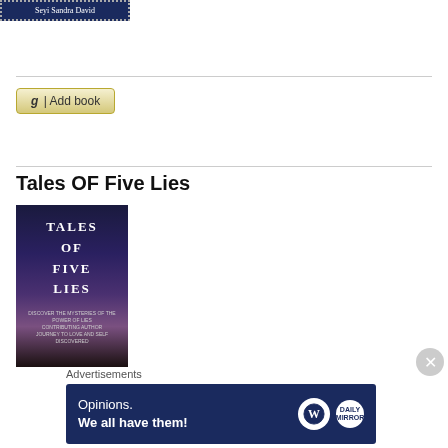[Figure (logo): Author badge with dark blue background and dotted border, text: Seyi Sandra David]
[Figure (other): Goodreads 'Add book' button with gold/tan gradient]
Tales OF Five Lies
[Figure (illustration): Book cover for 'Tales of Five Lies' with dark blue/purple night sky and silhouetted trees]
Advertisements
[Figure (screenshot): Advertisement banner: 'Opinions. We all have them!' with WordPress and Daily Mirror logos on dark blue background]